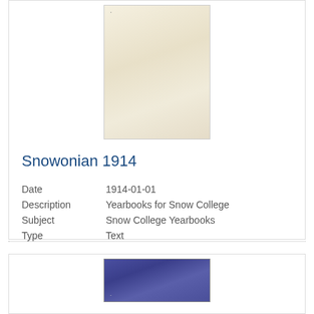[Figure (photo): Thumbnail image of Snowonian 1914 yearbook cover — cream/off-white colored book cover]
Snowonian 1914
| Date | 1914-01-01 |
| Description | Yearbooks for Snow College |
| Subject | Snow College Yearbooks |
| Type | Text |
[Figure (photo): Thumbnail image of another yearbook with dark navy/blue textured cover, partially visible]